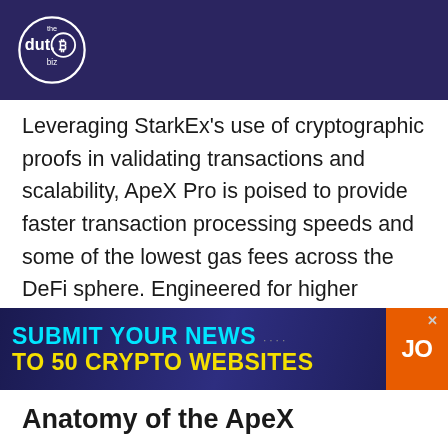[Figure (logo): The dut.B biz logo — white circular Bitcoin-style logo on dark purple/navy background header bar]
Leveraging StarkEx's use of cryptographic proofs in validating transactions and scalability, ApeX Pro is poised to provide faster transaction processing speeds and some of the lowest gas fees across the DeFi sphere. Engineered for higher liquidity and greater network interoperability, users can access non-custodial trading on ETH and ERC-20 tokens. The upgraded protocol is also ready to support
[Figure (infographic): Advertisement banner: dark navy/purple background with text 'SUBMIT YOUR NEWS TO 50 CRYPTO WEBSITES' in cyan/yellow bold uppercase letters, close X button top right, orange button on right side with text 'JO']
Anatomy of the ApeX